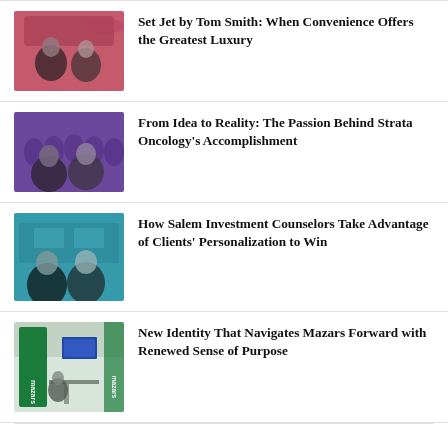[Figure (photo): Two men in front of a pink/red private jet background, grayscale figures with pink tint overlay]
Set Jet by Tom Smith: When Convenience Offers the Greatest Luxury
[Figure (photo): Group of people with purple overlay background, two men in foreground]
From Idea to Reality: The Passion Behind Strata Oncology’s Accomplishment
[Figure (photo): Two men in front of teal/blue background with office setting]
How Salem Investment Counselors Take Advantage of Clients’ Personalization to Win
[Figure (photo): Mazars branded event space with green signage and display screens]
New Identity That Navigates Mazars Forward with Renewed Sense of Purpose